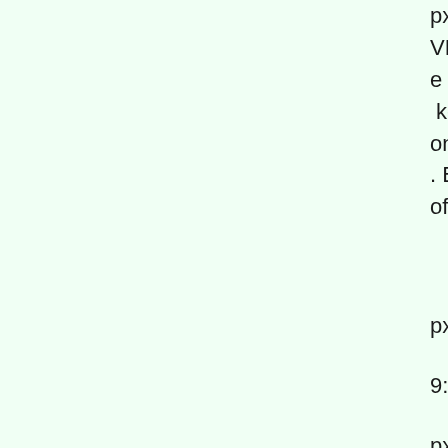px",179:"162px",
VP, believes
e gonna see
 kept on
on Square
. But
of the norm,
px",179:"162p
9:"345px
px",179:"162p
332.767px
9:"0px",180:"
r
]},
5.717px
9:"0px",180:"
oxing